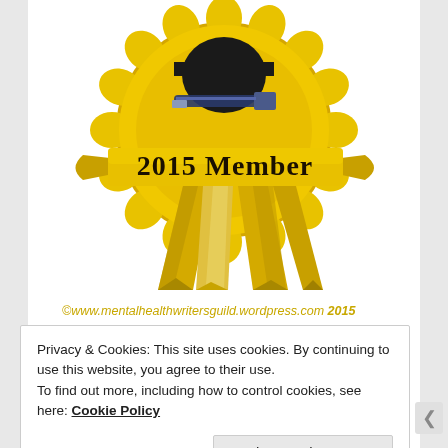[Figure (illustration): Gold award ribbon/rosette badge with '2015 Member' text on a golden banner across the middle, with a pen image at the top. The ribbon has layered gold petals and hanging gold streamers below.]
©www.mentalhealthwritersguild.wordpress.com 2015
Privacy & Cookies: This site uses cookies. By continuing to use this website, you agree to their use.
To find out more, including how to control cookies, see here: Cookie Policy
Close and accept